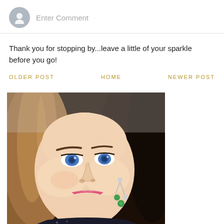Enter Comment
Thank you for stopping by...leave a little of your sparkle before you go!
OLDER POST    HOME    NEWER POST
[Figure (photo): Close-up selfie of a woman with blue eyes, dark brown hair, pink lipstick, and decorative earrings with green and white stones]